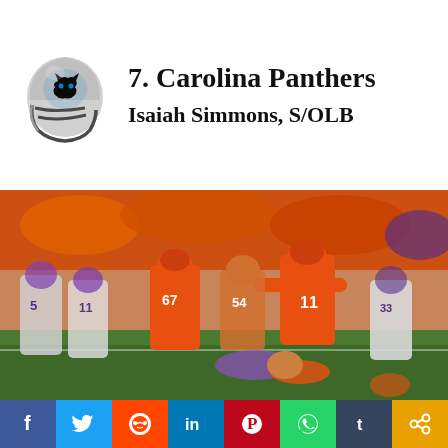7. Carolina Panthers
Isaiah Simmons, S/OLB
[Figure (photo): Football action photo showing Clemson players in orange uniforms (numbers 67, 54, 11) celebrating on the field against opposing team in white/purple uniforms, crowd visible in background]
f  t  (reddit)  in  P  (whatsapp)  t  (share)